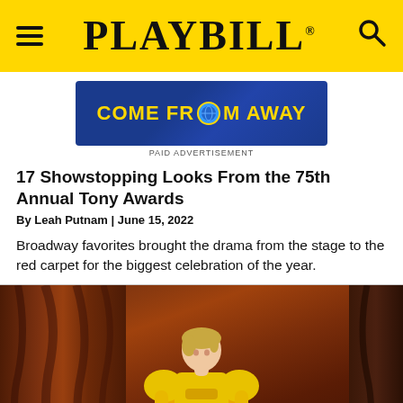PLAYBILL
[Figure (photo): Come From Away advertisement banner with yellow text on blue background]
PAID ADVERTISEMENT
17 Showstopping Looks From the 75th Annual Tony Awards
By Leah Putnam | June 15, 2022
Broadway favorites brought the drama from the stage to the red carpet for the biggest celebration of the year.
[Figure (photo): Woman in yellow dress posing in front of red/brown curtains at the Tony Awards red carpet]